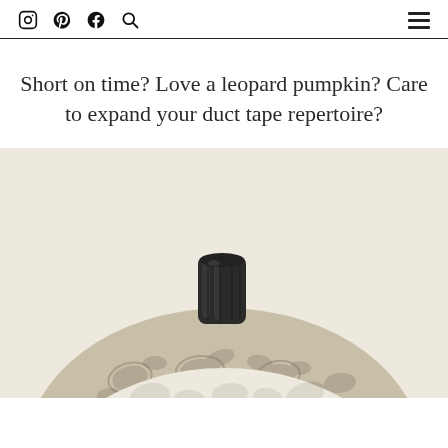Social media icons (Instagram, Pinterest, Facebook, Search) and hamburger menu
Short on time? Love a leopard pumpkin? Care to expand your duct tape repertoire?
[Figure (photo): Close-up photo of a decorative pumpkin with leopard print duct tape pattern and a dark black stem, set against a cream/off-white background. The bottom of the image shows the lower portion of the pumpkin with white leopard print design.]